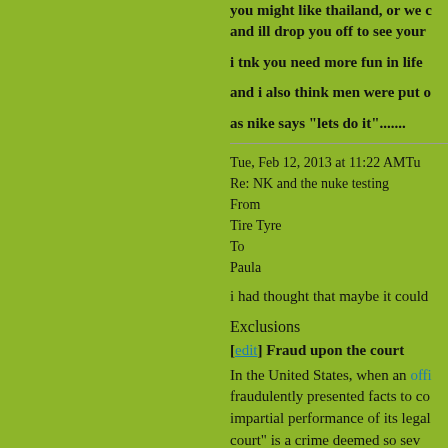you might like thailand, or we c and ill drop you off to see your
i tnk you need more fun in life
and i also think men were put o
as nike says "lets do it".......
Tue, Feb 12, 2013 at 11:22 AMTu
Re: NK and the nuke testing
From
Tire Tyre
To
Paula
i had thought that maybe it could
Exclusions
[edit] Fraud upon the court
In the United States, when an offi fraudulently presented facts to co impartial performance of its legal court" is a crime deemed so sev